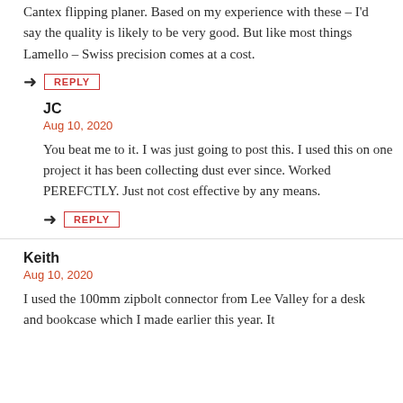Cantex flipping planer. Based on my experience with these – I'd say the quality is likely to be very good. But like most things Lamello – Swiss precision comes at a cost.
REPLY
JC
Aug 10, 2020
You beat me to it. I was just going to post this. I used this on one project it has been collecting dust ever since. Worked PEREFCTLY. Just not cost effective by any means.
REPLY
Keith
Aug 10, 2020
I used the 100mm zipbolt connector from Lee Valley for a desk and bookcase which I made earlier this year. It